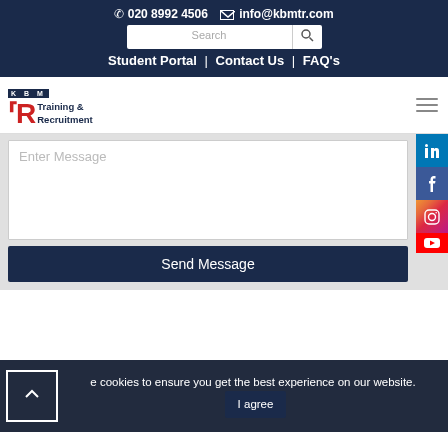020 8992 4506  info@kbmtr.com
Search
Student Portal | Contact Us | FAQ's
[Figure (logo): KBM Training & Recruitment logo with red TR letters and navy KBM text]
Enter Message
Send Message
[Figure (infographic): LinkedIn, Facebook, Instagram social media icons on right side]
e cookies to ensure you get the best experience on our website.
I agree